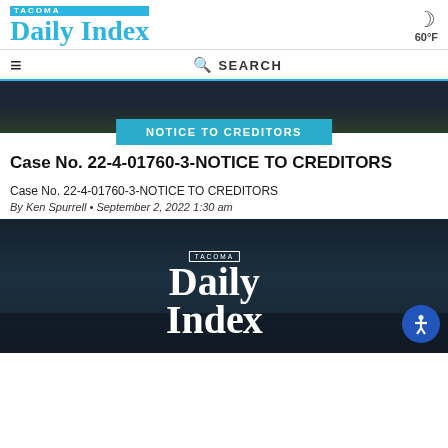TACOMA Daily Index 60°F
☰  🔍 SEARCH
[Figure (photo): Dark nighttime aerial photo of Tacoma with 'NOTICE TO CREDITORS' teal badge overlaid]
Case No. 22-4-01760-3-NOTICE TO CREDITORS
Case No. 22-4-01760-3-NOTICE TO CREDITORS
By Ken Spurrell • September 2, 2022 1:30 am
[Figure (photo): Dark nighttime aerial photo of Tacoma waterfront with Tacoma Daily Index logo overlay and accessibility icon button]